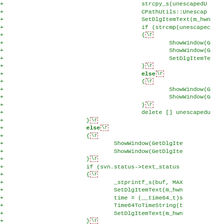Code diff showing C++ source additions with SVN status dialog code including ShowWindow, SetDlgItemText, stprintf_s, Time64ToTimeString calls and conditional logic for svn status text_status and entry->cmt_a checks.